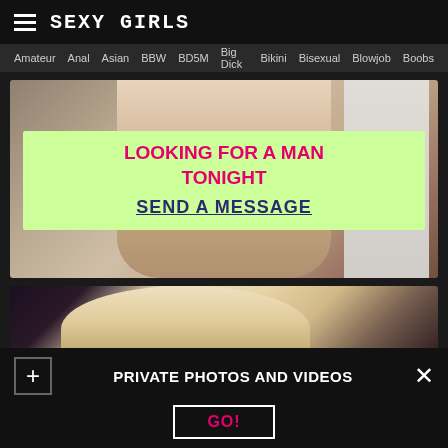SEXY GIRLS
Amateur   Anal   Asian   BBW   BD5M   Big Dick   Bikini   Bisexual   Blowjob   Boobs
[Figure (photo): Photo of a woman with overlay banner reading LOOKING FOR A MAN TONIGHT / SEND A MESSAGE on a light green background]
[Figure (photo): Partial photo of a blonde woman]
PRIVATE PHOTOS AND VIDEOS
GO!